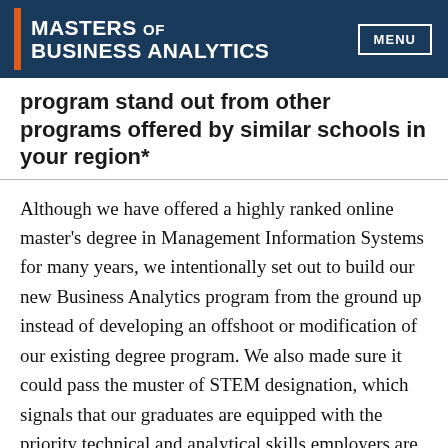MASTERS OF BUSINESS ANALYTICS | MENU
program stand out from other programs offered by similar schools in your region*
Although we have offered a highly ranked online master's degree in Management Information Systems for many years, we intentionally set out to build our new Business Analytics program from the ground up instead of developing an offshoot or modification of our existing degree program. We also made sure it could pass the muster of STEM designation, which signals that our graduates are equipped with the priority technical and analytical skills employers are seeking to stay relevant and competitive.